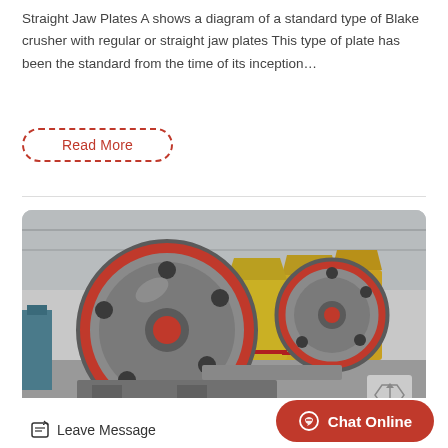Straight Jaw Plates A shows a diagram of a standard type of Blake crusher with regular or straight jaw plates This type of plate has been the standard from the time of its inception…
Read More
[Figure (photo): Industrial jaw crusher machines in a factory/warehouse setting. Foreground shows a large gray and red flywheel of a jaw crusher; background shows multiple yellow crusher units lined up.]
Leave Message
Chat Online